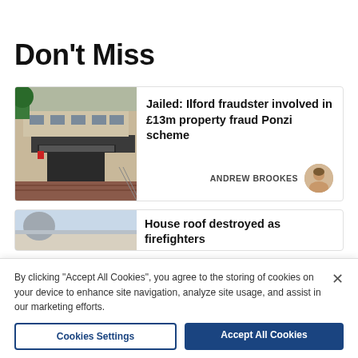Don't Miss
[Figure (photo): Exterior photo of a courthouse/court building with brick facade and covered entrance]
Jailed: Ilford fraudster involved in £13m property fraud Ponzi scheme
ANDREW BROOKES
[Figure (photo): Partial photo - sky and some structure visible]
House roof destroyed as firefighters
By clicking "Accept All Cookies", you agree to the storing of cookies on your device to enhance site navigation, analyze site usage, and assist in our marketing efforts.
Cookies Settings
Accept All Cookies